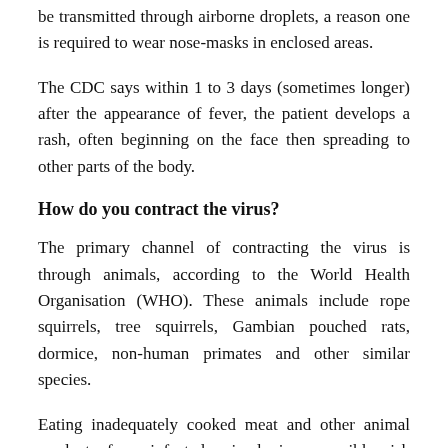be transmitted through airborne droplets, a reason one is required to wear nose-masks in enclosed areas.
The CDC says within 1 to 3 days (sometimes longer) after the appearance of fever, the patient develops a rash, often beginning on the face then spreading to other parts of the body.
How do you contract the virus?
The primary channel of contracting the virus is through animals, according to the World Health Organisation (WHO). These animals include rope squirrels, tree squirrels, Gambian pouched rats, dormice, non-human primates and other similar species.
Eating inadequately cooked meat and other animal products from infected animals is a possible risk factor